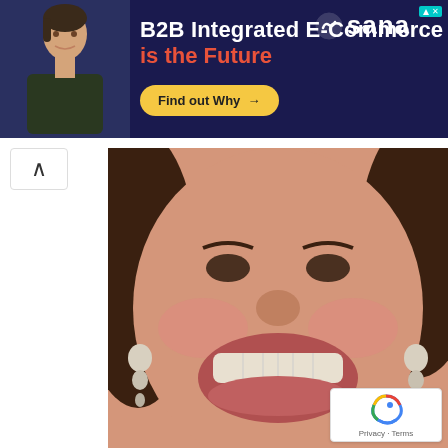[Figure (screenshot): Advertisement banner for Sana B2B Integrated E-Commerce with a man in a dark shirt, yellow 'Find out Why' button, and Sana logo on dark navy background]
[Figure (photo): Close-up of a smiling woman with dark hair and dangling earrings, showing her teeth]
[Pics] Meet Sandra Bullock's Son
Direct Healthy
[Figure (photo): Elderly man with light colored eyes looking slightly downward, wearing a dark jacket]